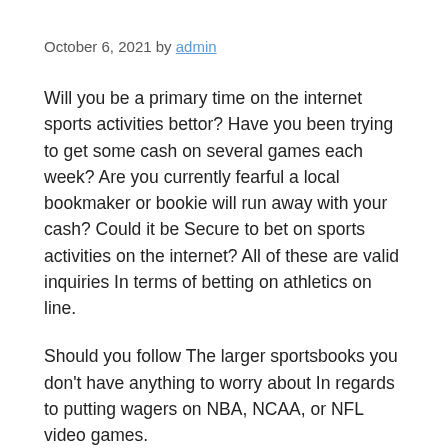October 6, 2021 by admin
Will you be a primary time on the internet sports activities bettor? Have you been trying to get some cash on several games each week? Are you currently fearful a local bookmaker or bookie will run away with your cash? Could it be Secure to bet on sports activities on the internet? All of these are valid inquiries In terms of betting on athletics on line.
Should you follow The larger sportsbooks you don't have anything to worry about In regards to putting wagers on NBA, NCAA, or NFL video games.